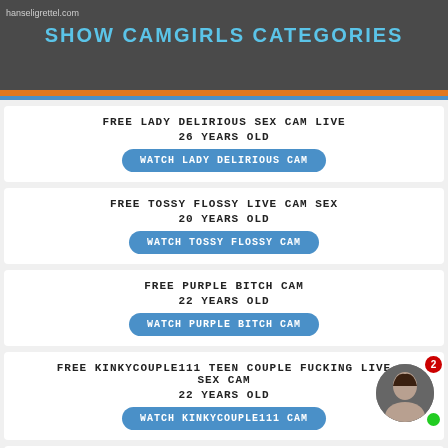hanseligrettel.com
SHOW CAMGIRLS CATEGORIES
FREE LADY DELIRIOUS SEX CAM LIVE
26 YEARS OLD
WATCH LADY DELIRIOUS CAM
FREE TOSSY FLOSSY LIVE CAM SEX
20 YEARS OLD
WATCH TOSSY FLOSSY CAM
FREE PURPLE BITCH CAM
22 YEARS OLD
WATCH PURPLE BITCH CAM
FREE KINKYCOUPLE111 TEEN COUPLE FUCKING LIVE SEX CAM
22 YEARS OLD
WATCH KINKYCOUPLE111 CAM
FREE SELTIN SWEETY NUDE LIVE CAM